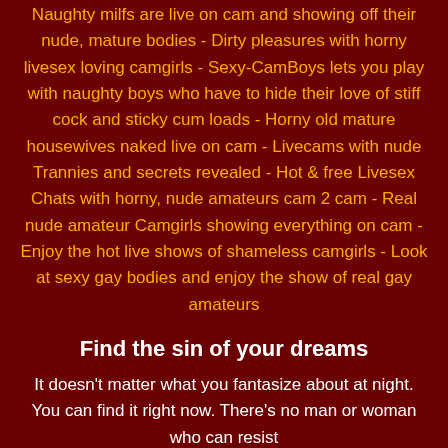Naughty milfs are live on cam and showing off their nude, mature bodies - Dirty pleasures with horny livesex loving camgirls - Sexy-CamBoys lets you play with naughty boys who have to hide their love of stiff cock and sticky cum loads - Horny old mature housewives naked live on cam - Livecams with nude Trannies and secrets revealed - Hot & free Livesex Chats with horny, nude amateurs cam 2 cam - Real nude amateur Camgirls showing everything on cam - Enjoy the hot live shows of shameless camgirls - Look at sexy gay bodies and enjoy the show of real gay amateurs
Find the sin of your dreams
It doesn't matter what you fantasize about at night. You can find it right now. There's no man or woman who can resist